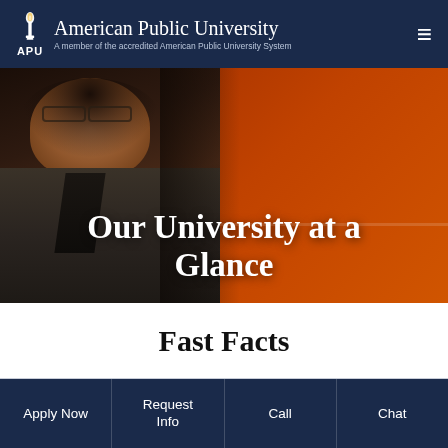American Public University — A member of the accredited American Public University System
[Figure (photo): Hero image of a smiling bearded man in a blazer against an orange background, overlaid with text 'Our University at a Glance']
Our University at a Glance
Fast Facts
Apply Now | Request Info | Call | Chat